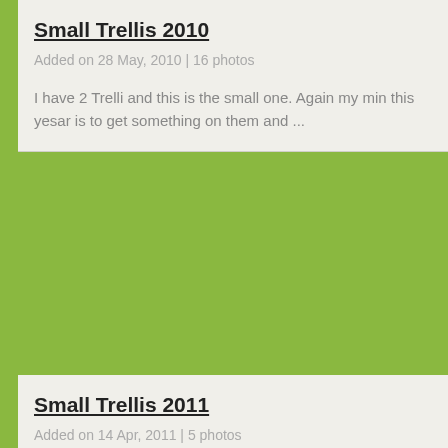Small Trellis 2010
Added on 28 May, 2010 | 16 photos
I have 2 Trelli and this is the small one. Again my min this yesar is to get something on them and ...
Small Trellis 2011
Added on 14 Apr, 2011 | 5 photos
Small Trellis 2012
Added on 16 Mar, 2012 | 15 photos